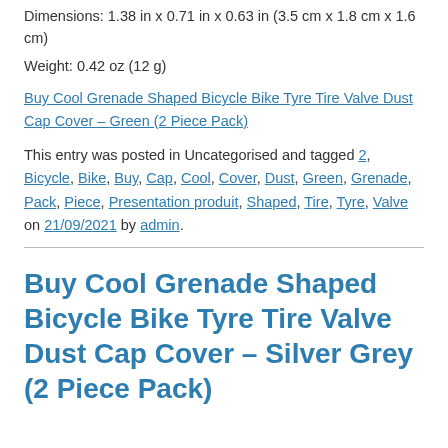Dimensions: 1.38 in x 0.71 in x 0.63 in (3.5 cm x 1.8 cm x 1.6 cm)
Weight: 0.42 oz (12 g)
Buy Cool Grenade Shaped Bicycle Bike Tyre Tire Valve Dust Cap Cover – Green (2 Piece Pack)
This entry was posted in Uncategorised and tagged 2, Bicycle, Bike, Buy, Cap, Cool, Cover, Dust, Green, Grenade, Pack, Piece, Presentation produit, Shaped, Tire, Tyre, Valve on 21/09/2021 by admin.
Buy Cool Grenade Shaped Bicycle Bike Tyre Tire Valve Dust Cap Cover – Silver Grey (2 Piece Pack)